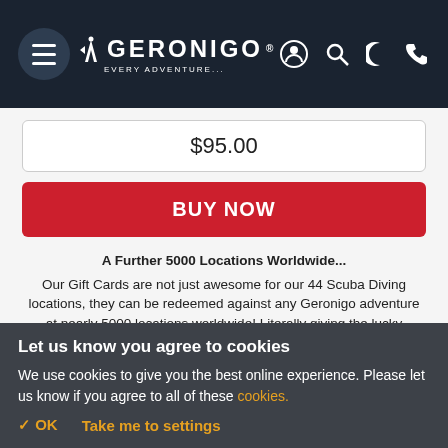GERONIGO — EVERY ADVENTURE.
$95.00
BUY NOW
A Further 5000 Locations Worldwide...
Our Gift Cards are not just awesome for our 44 Scuba Diving locations, they can be redeemed against any Geronigo adventure at nearly 5000 locations worldwide! Literally giving the lucky recipient access to over ten thousand action packed experience days.
If within 7 days of purchasing
Let us know you agree to cookies
We use cookies to give you the best online experience. Please let us know if you agree to all of these cookies.
✓ OK
Take me to settings